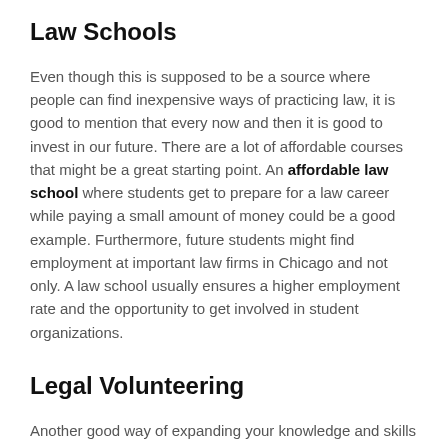Law Schools
Even though this is supposed to be a source where people can find inexpensive ways of practicing law, it is good to mention that every now and then it is good to invest in our future. There are a lot of affordable courses that might be a great starting point. An affordable law school where students get to prepare for a law career while paying a small amount of money could be a good example. Furthermore, future students might find employment at important law firms in Chicago and not only. A law school usually ensures a higher employment rate and the opportunity to get involved in student organizations.
Legal Volunteering
Another good way of expanding your knowledge and skills